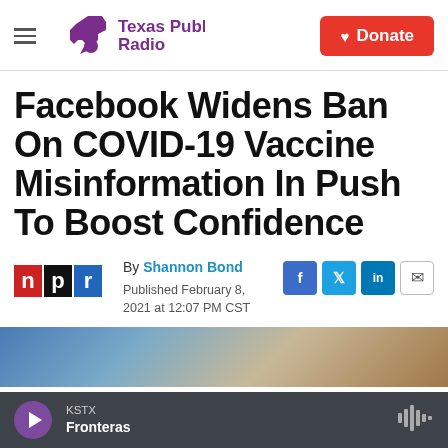Texas Public Radio — Donate
Facebook Widens Ban On COVID-19 Vaccine Misinformation In Push To Boost Confidence
By Shannon Bond
Published February 8, 2021 at 12:07 PM CST
[Figure (logo): NPR logo with red n, black p, blue r blocks]
[Figure (photo): Partial photo visible at bottom of article area]
KSTX Fronteras — player bar with play button and audio wave icon